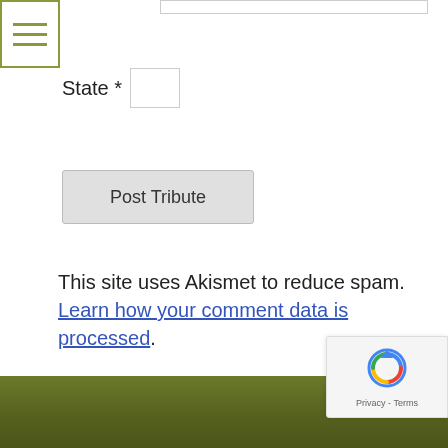[Figure (other): Hamburger menu icon with three horizontal olive-green lines inside a bordered box]
State *
Post Tribute
This site uses Akismet to reduce spam. Learn how your comment data is processed.
[Figure (other): Google reCAPTCHA badge with spinning arrow logo and Privacy - Terms text]